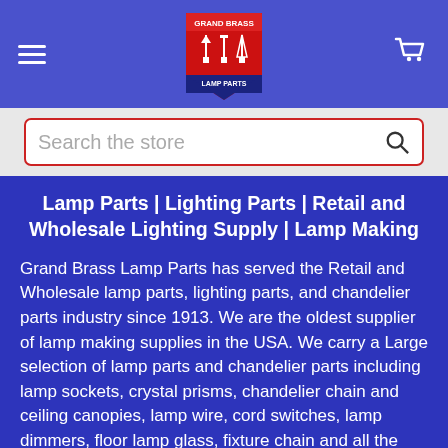[Figure (logo): Grand Brass Lamp Parts logo — red shield with lamp image and text]
Search the store
Lamp Parts | Lighting Parts | Retail and Wholesale Lighting Supply | Lamp Making
Grand Brass Lamp Parts has served the Retail and Wholesale lamp parts, lighting parts, and chandelier parts industry since 1913. We are the oldest supplier of lamp making supplies in the USA. We carry a Large selection of lamp parts and chandelier parts including lamp sockets, crystal prisms, chandelier chain and ceiling canopies, lamp wire, cord switches, lamp dimmers, floor lamp glass, fixture chain and all the supplies for making lamps.
We have a Large Inventory of replacement lamp glass shades and lighting glass such as necked fitter glass